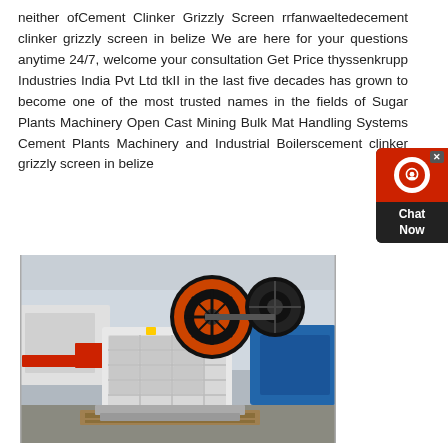neither ofCement Clinker Grizzly Screen rrfanwaeltedecement clinker grizzly screen in belize We are here for your questions anytime 24/7, welcome your consultation Get Price thyssenkrupp Industries India Pvt Ltd tkII in the last five decades has grown to become one of the most trusted names in the fields of Sugar Plants Machinery Open Cast Mining Bulk Mat Handling Systems Cement Plants Machinery and Industrial Boilerscement clinker grizzly screen in belize
[Figure (photo): Industrial jaw crusher machine in a factory/warehouse setting, showing a large machine with an orange flywheel/pulley, white metal frame with grid-like structure, and red industrial equipment visible in the background.]